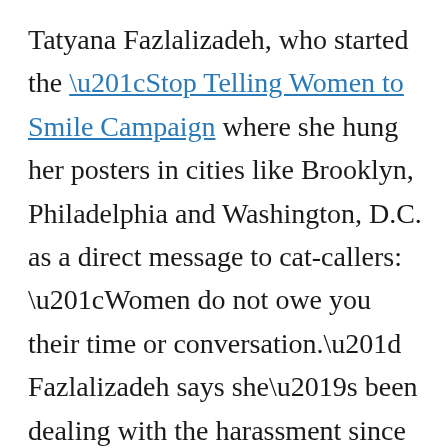Tatyana Fazlalizadeh, who started the “Stop Telling Women to Smile Campaign” where she hung her posters in cities like Brooklyn, Philadelphia and Washington, D.C. as a direct message to cat-callers: “Women do not owe you their time or conversation.” Fazlalizadeh says she’s been dealing with the harassment since she was a teenager and decided some years ago to use her art to address